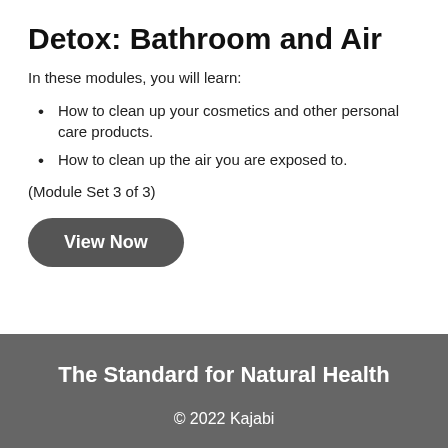Detox: Bathroom and Air
In these modules, you will learn:
How to clean up your cosmetics and other personal care products.
How to clean up the air you are exposed to.
(Module Set 3 of 3)
View Now
The Standard for Natural Health
© 2022 Kajabi